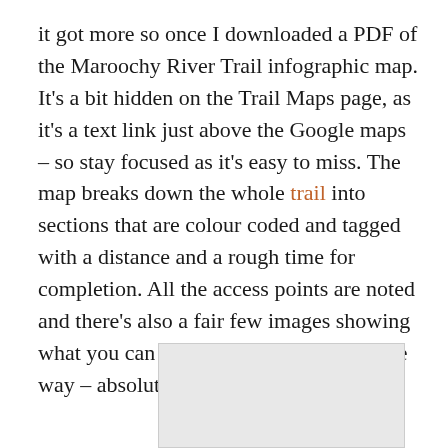it got more so once I downloaded a PDF of the Maroochy River Trail infographic map. It's a bit hidden on the Trail Maps page, as it's a text link just above the Google maps – so stay focused as it's easy to miss. The map breaks down the whole trail into sections that are colour coded and tagged with a distance and a rough time for completion. All the access points are noted and there's also a fair few images showing what you can expect to discover along the way – absolutely brilliant.
[Figure (other): Light grey rectangular placeholder image box]